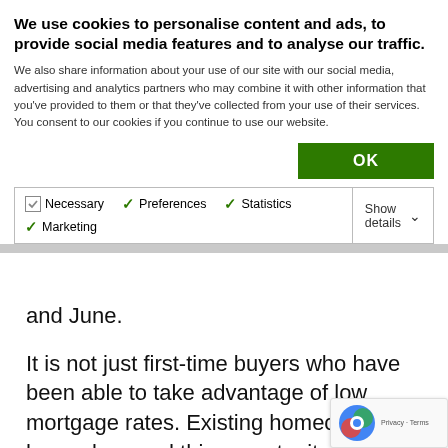We use cookies to personalise content and ads, to provide social media features and to analyse our traffic.
We also share information about your use of our site with our social media, advertising and analytics partners who may combine it with other information that you've provided to them or that they've collected from your use of their services. You consent to our cookies if you continue to use our website.
OK (button)
| Option | Show details |
| --- | --- |
| Necessary  Preferences  Statistics  Marketing | Show details ∨ |
and June.
It is not just first-time buyers who have been able to take advantage of low mortgage rates. Existing homeowners have also used this opportunity to remortgage and find a cheaper deal.
Mortgage lenders have been cutting rates and e criteria in a bid to bring more existing customer market.